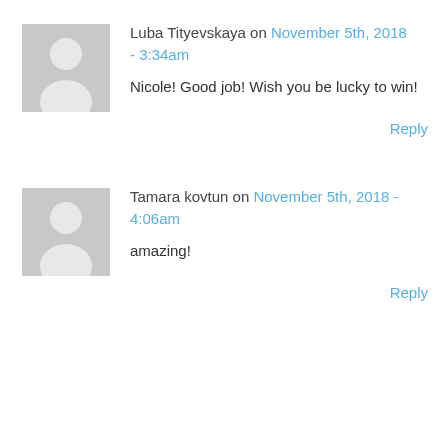[Figure (illustration): Grey placeholder avatar icon showing a silhouette of a person, first comment]
Luba Tityevskaya on November 5th, 2018 - 3:34am
Nicole! Good job! Wish you be lucky to win!
Reply
[Figure (illustration): Grey placeholder avatar icon showing a silhouette of a person, second comment]
Tamara kovtun on November 5th, 2018 - 4:06am
amazing!
Reply